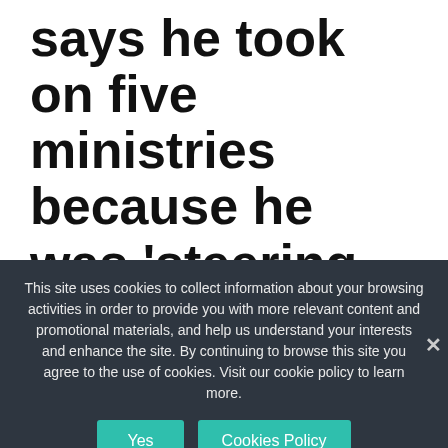says he took on five ministries because he was 'steering the ship'
August 17, 2022 by Editorial staff
This site uses cookies to collect information about your browsing activities in order to provide you with more relevant content and promotional materials, and help us understand your interests and enhance the site. By continuing to browse this site you agree to the use of cookies. Visit our cookie policy to learn more.